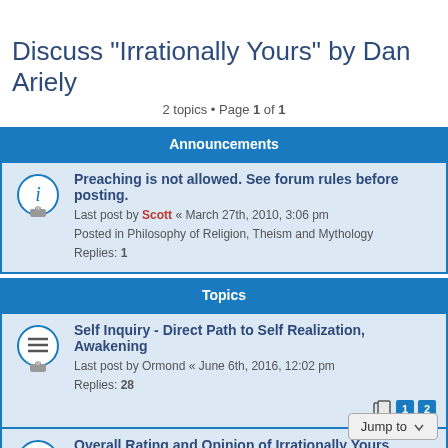Discuss "Irrationally Yours" by Dan Ariely
2 topics • Page 1 of 1
Announcements
Preaching is not allowed. See forum rules before posting. Last post by Scott « March 27th, 2010, 3:06 pm Posted in Philosophy of Religion, Theism and Mythology Replies: 1
Topics
Self Inquiry - Direct Path to Self Realization, Awakening Last post by Ormond « June 6th, 2016, 12:02 pm Replies: 28
Overall Rating and Opinion of Irrationally Yours Last post by Scott « February 4th, 2016, 10:06 am
2 topics • Page 1 of 1